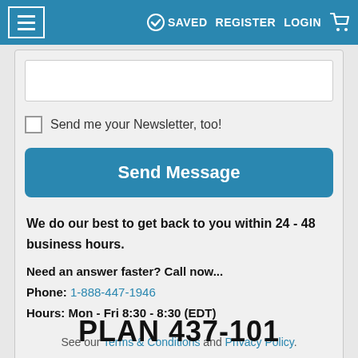≡  ✓ SAVED  REGISTER  LOGIN  🛒
[Figure (screenshot): Text area input field, partially visible, white background with grey border]
Send me your Newsletter, too!
Send Message
We do our best to get back to you within 24 - 48 business hours.

Need an answer faster? Call now...
Phone: 1-888-447-1946
Hours: Mon - Fri 8:30 - 8:30 (EDT)
See our Terms & Conditions and Privacy Policy.
PLAN 437-101